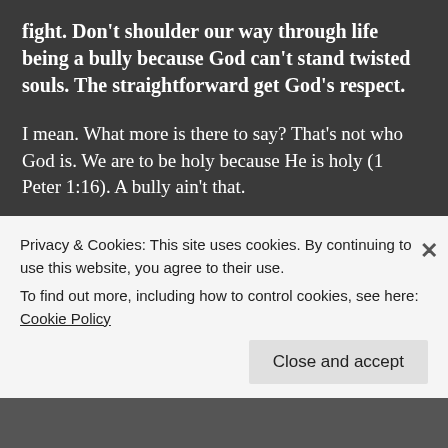fight. Don't shoulder our way through life being a bully because God can't stand twisted souls. The straightforward get God's respect.
I mean. What more is there to say? That's not who God is. We are to be holy because He is holy (1 Peter 1:16). A bully ain't that.
33-35: The house of the wicked are cursed by God but the home of the righteous is blessed. Proud skeptics are given a cold shoulder but those down on their luck receive help. Honor is given to wise living. Booby prizes are given to stupid living.
Privacy & Cookies: This site uses cookies. By continuing to use this website, you agree to their use.
To find out more, including how to control cookies, see here: Cookie Policy